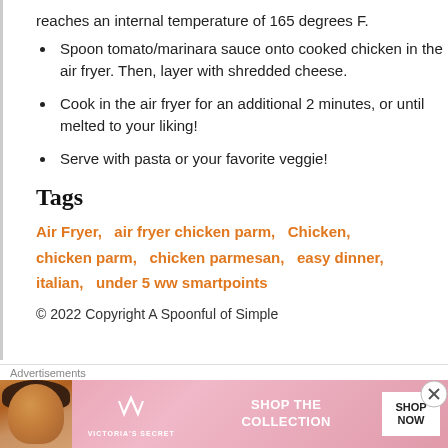reaches an internal temperature of 165 degrees F.
Spoon tomato/marinara sauce onto cooked chicken in the air fryer. Then, layer with shredded cheese.
Cook in the air fryer for an additional 2 minutes, or until melted to your liking!
Serve with pasta or your favorite veggie!
Tags
Air Fryer,   air fryer chicken parm,   Chicken,   chicken parm,   chicken parmesan,   easy dinner,   italian,   under 5 ww smartpoints
© 2022 Copyright A Spoonful of Simple
Advertisements
[Figure (illustration): Victoria's Secret advertisement banner with model photo, VS logo, 'SHOP THE COLLECTION' text and 'SHOP NOW' button]